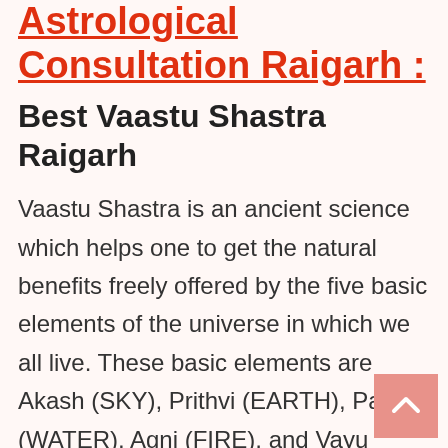Astrological Consultation Raigarh :
Best Vaastu Shastra Raigarh
Vaastu Shastra is an ancient science which helps one to get the natural benefits freely offered by the five basic elements of the universe in which we all live. These basic elements are Akash (SKY), Prithvi (EARTH), Paani (WATER), Agni (FIRE), and Vayu (WIND). Vaastu Shastra can be